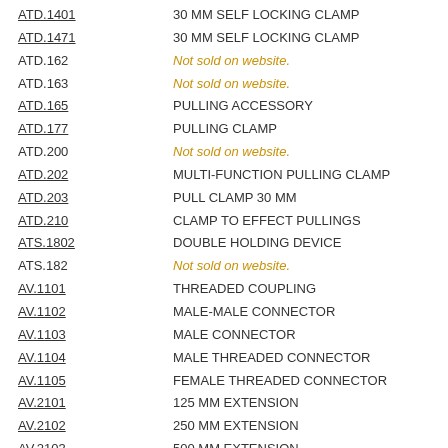ATD.1401 - 30 MM SELF LOCKING CLAMP
ATD.1471 - 30 MM SELF LOCKING CLAMP
ATD.162 - Not sold on website.
ATD.163 - Not sold on website.
ATD.165 - PULLING ACCESSORY
ATD.177 - PULLING CLAMP
ATD.200 - Not sold on website.
ATD.202 - MULTI-FUNCTION PULLING CLAMP
ATD.203 - PULL CLAMP 30 MM
ATD.210 - CLAMP TO EFFECT PULLINGS
ATS.1802 - DOUBLE HOLDING DEVICE
ATS.182 - Not sold on website.
AV.1101 - THREADED COUPLING
AV.1102 - MALE-MALE CONNECTOR
AV.1103 - MALE CONNECTOR
AV.1104 - MALE THREADED CONNECTOR
AV.1105 - FEMALE THREADED CONNECTOR
AV.2101 - 125 MM EXTENSION
AV.2102 - 250 MM EXTENSION
AV.2103 - 500 MM EXTENSION
AV.2104 - 750 MM EXTENSION
AV.2105 - Not sold on website.
AV.3101 - SERRATED SADDLE
AV.3102 - PLUNGER TOE
AV.3103 - FLAT BASE
AV.3105 - 85 MM RUBBER HEAD